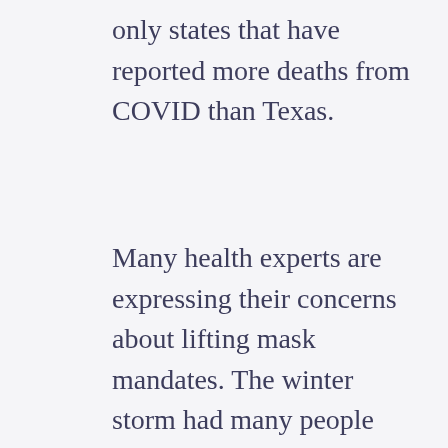only states that have reported more deaths from COVID than Texas.
Many health experts are expressing their concerns about lifting mask mandates. The winter storm had many people sheltering together, whether it be with